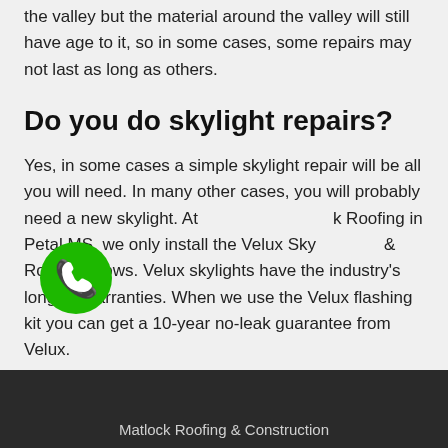the valley but the material around the valley will still have age to it, so in some cases, some repairs may not last as long as others.
Do you do skylight repairs?
Yes, in some cases a simple skylight repair will be all you will need. In many other cases, you will probably need a new skylight. At Matlock Roofing in Petal MS, we only install the Velux Skylights & Roof Windows. Velux skylights have the industry's longest warranties. When we use the Velux flashing kit you can get a 10-year no-leak guarantee from Velux.
[Figure (illustration): Green circular phone/call button icon]
Matlock Roofing & Construction